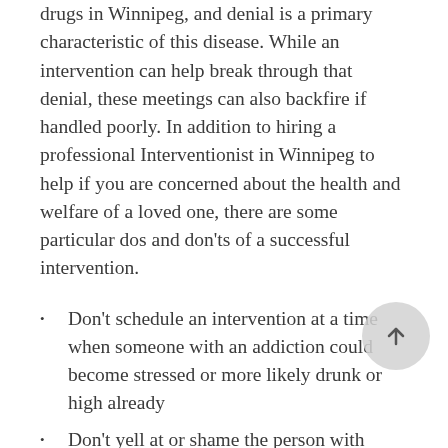drugs in Winnipeg, and denial is a primary characteristic of this disease. While an intervention can help break through that denial, these meetings can also backfire if handled poorly. In addition to hiring a professional Interventionist in Winnipeg to help if you are concerned about the health and welfare of a loved one, there are some particular dos and don'ts of a successful intervention.
Don't schedule an intervention at a time when someone with an addiction could become stressed or more likely drunk or high already
Don't yell at or shame the person with addiction